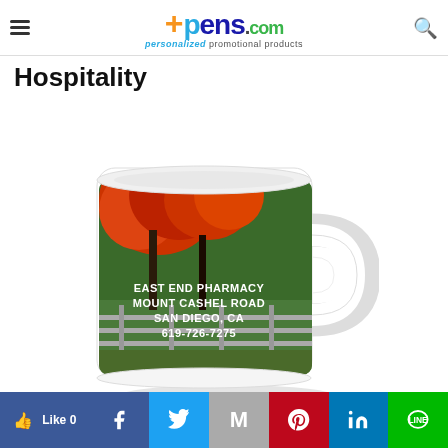pens.com personalized promotional products
Hospitality
[Figure (photo): White coffee mug with autumn tree scene printed on it showing red maple foliage with text 'EAST END PHARMACY MOUNT CASHEL ROAD SAN DIEGO, CA 619-726-7275']
Like 0  Facebook  Twitter  Gmail  Pinterest  LinkedIn  Line